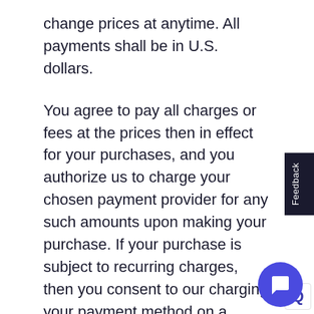change prices at anytime. All payments shall be in U.S. dollars.
You agree to pay all charges or fees at the prices then in effect for your purchases, and you authorize us to charge your chosen payment provider for any such amounts upon making your purchase. If your purchase is subject to recurring charges, then you consent to our charging your payment method on a recurring basis without requiring your prior approval foreach recurring charge, until you notify us of your cancellation, and we process your cancellation.
We reserve the right to correct any errors or mistakes in pricing, even if we have already